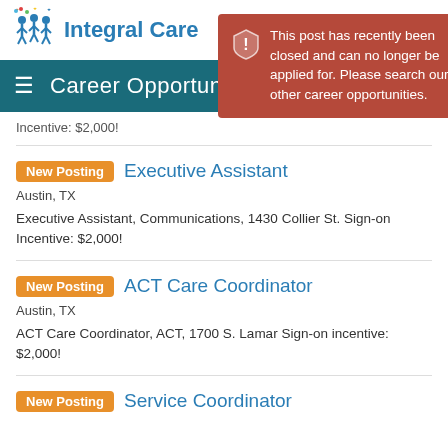Integral Care
Career Opportunities
[Figure (infographic): Alert overlay: 'This post has recently been closed and can no longer be applied for. Please search our other career opportunities.']
Incentive: $2,000!
New Posting — Executive Assistant, Austin, TX. Executive Assistant, Communications, 1430 Collier St. Sign-on Incentive: $2,000!
New Posting — ACT Care Coordinator, Austin, TX. ACT Care Coordinator, ACT, 1700 S. Lamar Sign-on incentive: $2,000!
New Posting — Service Coordinator